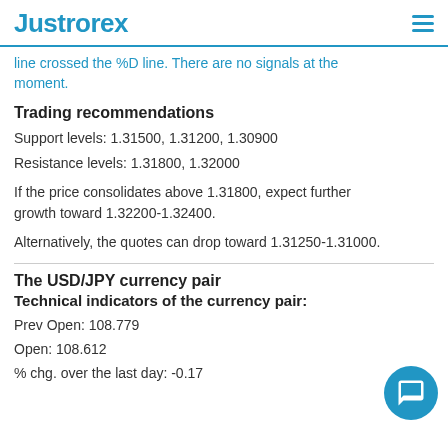JustForex
line crossed the %D line. There are no signals at the moment.
Trading recommendations
Support levels: 1.31500, 1.31200, 1.30900
Resistance levels: 1.31800, 1.32000
If the price consolidates above 1.31800, expect further growth toward 1.32200-1.32400.
Alternatively, the quotes can drop toward 1.31250-1.31000.
The USD/JPY currency pair
Technical indicators of the currency pair:
Prev Open: 108.779
Open: 108.612
% chg. over the last day: -0.17